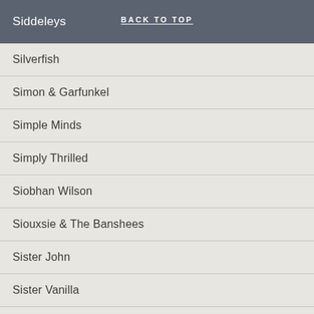Siddeleys | BACK TO TOP
Silverfish
Simon & Garfunkel
Simple Minds
Simply Thrilled
Siobhan Wilson
Siouxsie & The Banshees
Sister John
Sister Vanilla
Sisters Of Mercy
Skep Wax Records
Skids
Skinner